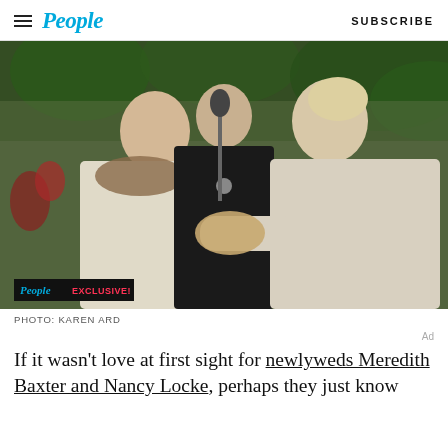People  SUBSCRIBE
[Figure (photo): Two women holding hands at what appears to be an outdoor wedding ceremony, with a woman officiant in a black dress standing between them in front of a microphone. Left woman wears a light blazer with leopard print scarf; right woman wears a light gray coat. Greenery in background. People EXCLUSIVE badge in lower left.]
PHOTO: KAREN ARD
Ad
If it wasn't love at first sight for newlyweds Meredith Baxter and Nancy Locke, perhaps they just know